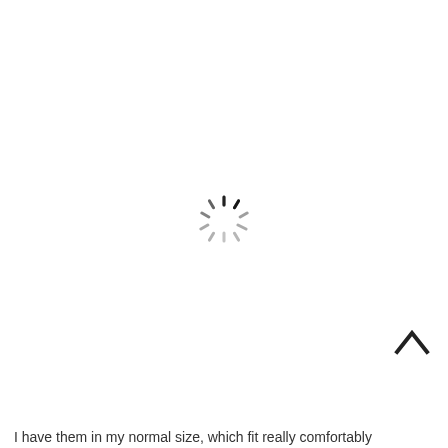[Figure (other): Loading spinner icon — a circular arrangement of short radial dashes (clock-like spokes) in gray/black, indicating content is loading]
[Figure (other): Back-to-top chevron/caret icon — upward-pointing caret symbol (^) in dark gray, positioned at lower right]
I have them in my normal size, which fit really comfortably